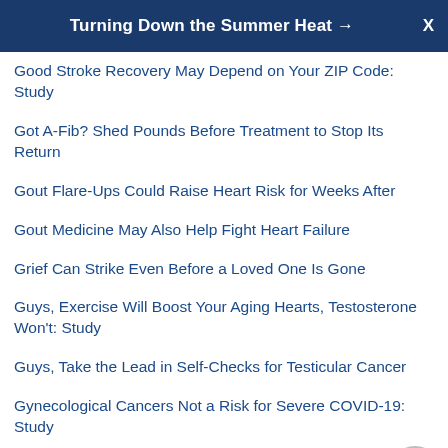Turning Down the Summer Heat → X
Good Stroke Recovery May Depend on Your ZIP Code: Study
Got A-Fib? Shed Pounds Before Treatment to Stop Its Return
Gout Flare-Ups Could Raise Heart Risk for Weeks After
Gout Medicine May Also Help Fight Heart Failure
Grief Can Strike Even Before a Loved One Is Gone
Guys, Exercise Will Boost Your Aging Hearts, Testosterone Won't: Study
Guys, Take the Lead in Self-Checks for Testicular Cancer
Gynecological Cancers Not a Risk for Severe COVID-19: Study
Gynecological Exam, Heart Screening Should Go